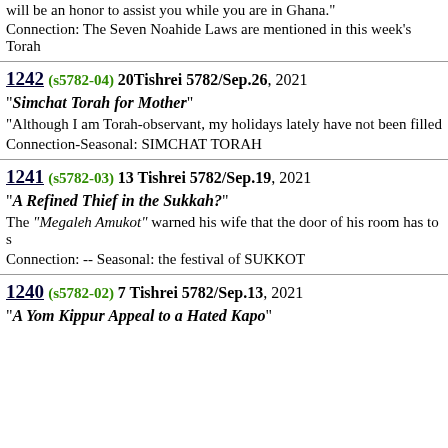will be an honor to assist you while you are in Ghana."
Connection: The Seven Noahide Laws are mentioned in this week's Torah
1242 (s5782-04) 20Tishrei 5782/Sep.26, 2021
"Simchat Torah for Mother"
"Although I am Torah-observant, my holidays lately have not been filled
Connection-Seasonal: SIMCHAT TORAH
1241 (s5782-03) 13 Tishrei 5782/Sep.19, 2021
"A Refined Thief in the Sukkah?"
The "Megaleh Amukot" warned his wife that the door of his room has to s
Connection: -- Seasonal: the festival of SUKKOT
1240 (s5782-02) 7 Tishrei 5782/Sep.13, 2021
"A Yom Kippur Appeal to a Hated Kapo"